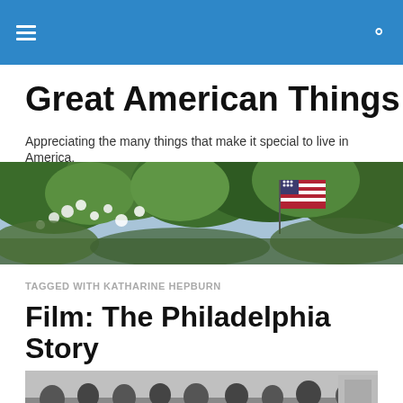Great American Things — navigation header with hamburger menu and search icon
Great American Things
Appreciating the many things that make it special to live in America.
[Figure (photo): Banner photo of blooming white flowers on a tree with an American flag visible among the branches and foliage]
TAGGED WITH KATHARINE HEPBURN
Film: The Philadelphia Story
[Figure (photo): Black and white photograph showing a crowd of people at what appears to be a formal social event or party]